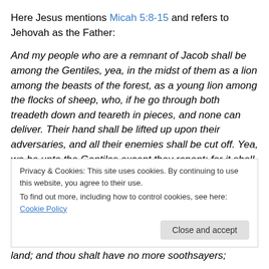Here Jesus mentions Micah 5:8-15 and refers to Jehovah as the Father:
And my people who are a remnant of Jacob shall be among the Gentiles, yea, in the midst of them as a lion among the beasts of the forest, as a young lion among the flocks of sheep, who, if he go through both treadeth down and teareth in pieces, and none can deliver. Their hand shall be lifted up upon their adversaries, and all their enemies shall be cut off. Yea, wo be unto the Gentiles except they repent; for it shall come to pass in that day,
Privacy & Cookies: This site uses cookies. By continuing to use this website, you agree to their use.
To find out more, including how to control cookies, see here: Cookie Policy
land; and thou shalt have no more soothsayers;